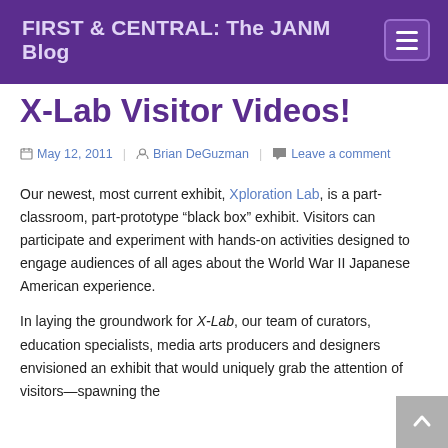FIRST & CENTRAL: The JANM Blog
X-Lab Visitor Videos!
May 12, 2011  Brian DeGuzman  Leave a comment
Our newest, most current exhibit, Xploration Lab, is a part-classroom, part-prototype “black box” exhibit. Visitors can participate and experiment with hands-on activities designed to engage audiences of all ages about the World War II Japanese American experience.
In laying the groundwork for X-Lab, our team of curators, education specialists, media arts producers and designers envisioned an exhibit that would uniquely grab the attention of visitors—spawning the